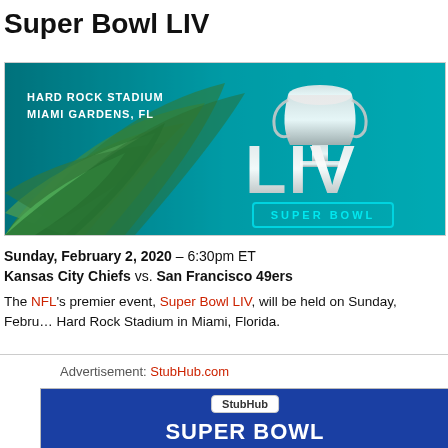Super Bowl LIV
[Figure (photo): Super Bowl LIV promotional banner showing Hard Rock Stadium, Miami Gardens FL text, palm leaves, and the LIV Super Bowl logo on a teal/aqua background]
Sunday, February 2, 2020 – 6:30pm ET
Kansas City Chiefs vs. San Francisco 49ers
The NFL's premier event, Super Bowl LIV, will be held on Sunday, February 2, 2020 at Hard Rock Stadium in Miami, Florida.
Advertisement: StubHub.com
[Figure (screenshot): StubHub advertisement banner in blue showing StubHub logo badge and SUPER BOWL text in white]